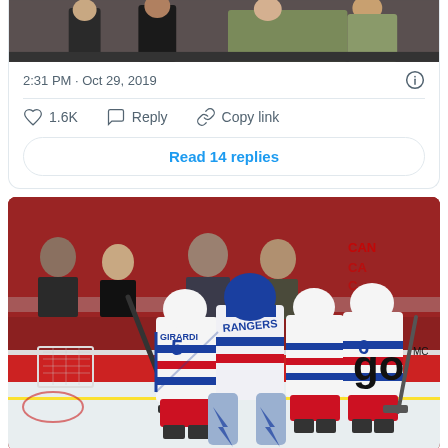[Figure (photo): Top portion of a tweet card showing a cropped photo of people (fans/spectators) at what appears to be a sports arena]
2:31 PM · Oct 29, 2019
1.6K   Reply   Copy link
Read 14 replies
[Figure (photo): New York Rangers hockey players (including #5 GIRARDI and #6) gathered around their goalie in front of the net, at what appears to be an away game. A 'go' advertisement board is visible in the background along with Canadian flags.]